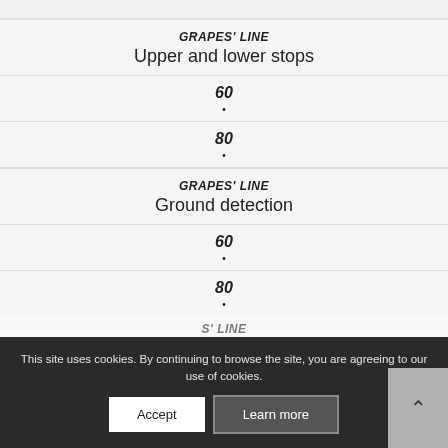| GRAPES' LINE | Upper and lower stops |
| --- | --- |
| 60 | • |
| 80 | • |
| GRAPES' LINE | Ground detection |
| --- | --- |
| 60 | • |
| 80 | • |
This site uses cookies. By continuing to browse the site, you are agreeing to our use of cookies.
Accept | Learn more